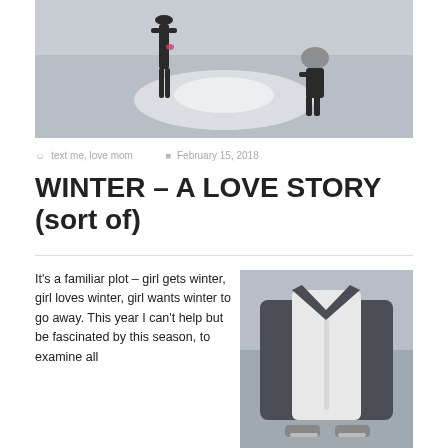[Figure (photo): Two silhouettes on an ice rink — a tall figure and a small child wearing a helmet, backlit by bright light on the ice surface.]
text me, love mom   February 15, 2018
WINTER – A LOVE STORY (sort of)
It's a familiar plot – girl gets winter, girl loves winter, girl wants winter to go away. This year I can't help but be fascinated by this season, to examine all
[Figure (photo): Close-up of a person in winter clothing viewed from above, wearing a grey jacket opened to reveal a white shirt, with ice skating blades visible at bottom.]